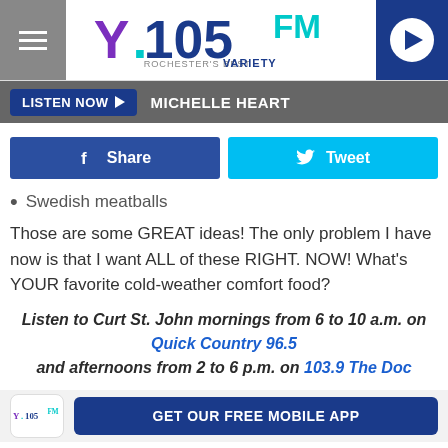[Figure (logo): Y105FM Rochester's Best Variety radio station logo with hamburger menu and play button]
LISTEN NOW ▶  MICHELLE HEART
[Figure (infographic): Facebook Share button and Twitter Tweet button]
Swedish meatballs
Those are some GREAT ideas! The only problem I have now is that I want ALL of these RIGHT. NOW! What's YOUR favorite cold-weather comfort food?
Listen to Curt St. John mornings from 6 to 10 a.m. on Quick Country 96.5 and afternoons from 2 to 6 p.m. on 103.9 The Doc
[Figure (logo): Y105FM GET OUR FREE MOBILE APP banner]